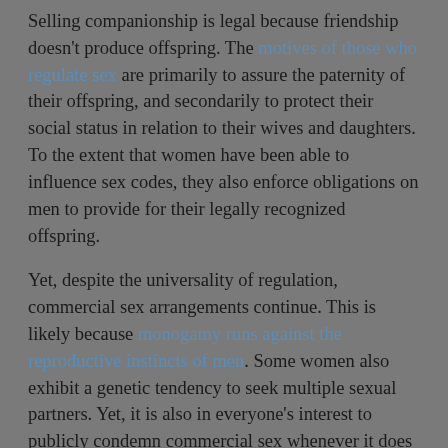Selling companionship is legal because friendship doesn't produce offspring. The motives of those who regulate sex are primarily to assure the paternity of their offspring, and secondarily to protect their social status in relation to their wives and daughters. To the extent that women have been able to influence sex codes, they also enforce obligations on men to provide for their legally recognized offspring.
Yet, despite the universality of regulation, commercial sex arrangements continue. This is likely because monogamy runs against the reproductive instincts of men. Some women also exhibit a genetic tendency to seek multiple sexual partners. Yet, it is also in everyone's interest to publicly condemn commercial sex whenever it does not involve oneself. Hence, “slut shaming” and the paradox of the “world’s oldest profession.”
Moral instincts are the wellspring of ethics, but, like